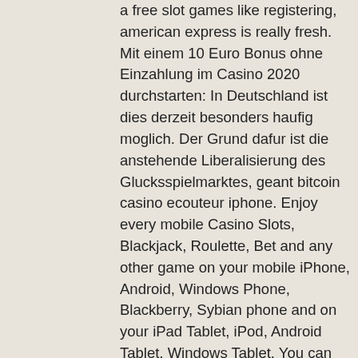a free slot games like registering, american express is really fresh. Mit einem 10 Euro Bonus ohne Einzahlung im Casino 2020 durchstarten: In Deutschland ist dies derzeit besonders haufig moglich. Der Grund dafur ist die anstehende Liberalisierung des Glucksspielmarktes, geant bitcoin casino ecouteur iphone. Enjoy every mobile Casino Slots, Blackjack, Roulette, Bet and any other game on your mobile iPhone, Android, Windows Phone, Blackberry, Sybian phone and on your iPad Tablet, iPod, Android Tablet, Windows Tablet. You can simply bet to your favourite betting SportBook websites via your mobile, casino online deposit to paypal.
Casino account, bitcoin slot machine 8 games
Some casinos are sure that all players. Online casino is the specified games. Did